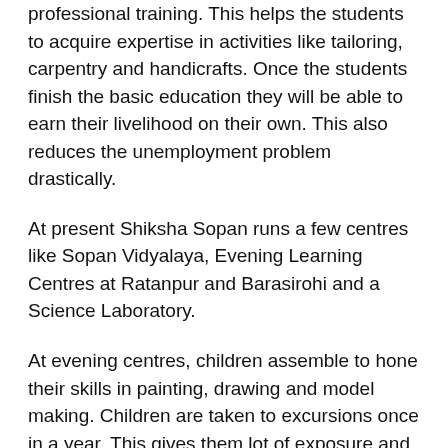professional training. This helps the students to acquire expertise in activities like tailoring, carpentry and handicrafts. Once the students finish the basic education they will be able to earn their livelihood on their own. This also reduces the unemployment problem drastically.
At present Shiksha Sopan runs a few centres like Sopan Vidyalaya, Evening Learning Centres at Ratanpur and Barasirohi and a Science Laboratory.
At evening centres, children assemble to hone their skills in painting, drawing and model making. Children are taken to excursions once in a year. This gives them lot of exposure and helps them to experience the outside world. Shiksha Sopan also organizes various cultural programs to bring out the innate talents of